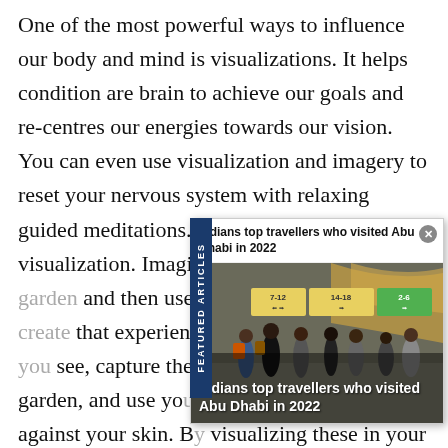One of the most powerful ways to influence our body and mind is visualizations. It helps condition are brain to achieve our goals and re-centres our energies towards our vision. You can even use visualization and imagery to reset your nervous system with relaxing guided meditations. A popular one is garden visualization. Imagine yourself in a beautiful garden and then use all your senses to fully create that experience. By seeing the colours you see, capture the vast beauty of a nature garden, and use your senses to feel the breeze against your skin. By visualizing these in your mind, the effect is still very powerful on your body.
[Figure (screenshot): A popup overlay showing a news article titled 'Indians top travellers who visited Abu Dhabi in 2022' with a photo of an airport terminal with people walking. A blue vertical sidebar reads 'FEATURED ARTICLES'. The caption on the image reads 'Indians top travellers who visited Abu Dhabi in 2022'.]